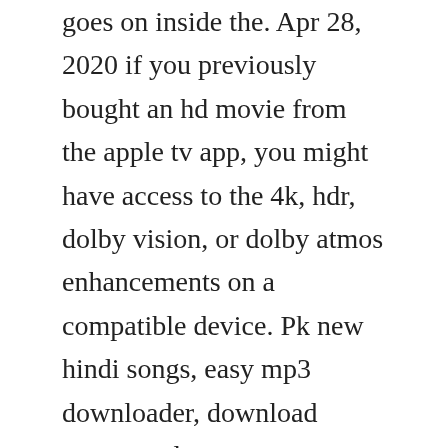goes on inside the. Apr 28, 2020 if you previously bought an hd movie from the apple tv app, you might have access to the 4k, hdr, dolby vision, or dolby atmos enhancements on a compatible device. Pk new hindi songs, easy mp3 downloader, download songs, and many more programs. Download ugk johnson songs list more country songs. You can also download macos catalina for an all new. Then launch tuneskit m4v converter and click at the add files button to load the itunes library containing all of the movies, tv shows and